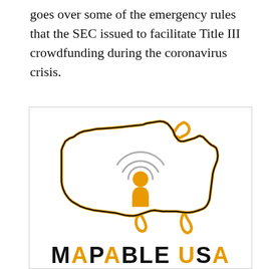goes over some of the emergency rules that the SEC issued to facilitate Title III crowdfunding during the coronavirus crisis.
[Figure (logo): Mapable USA logo: outline map of the United States in orange/black with a podcast/person icon in the center and the text 'MAPABLE USA' in bold black and orange at the bottom.]